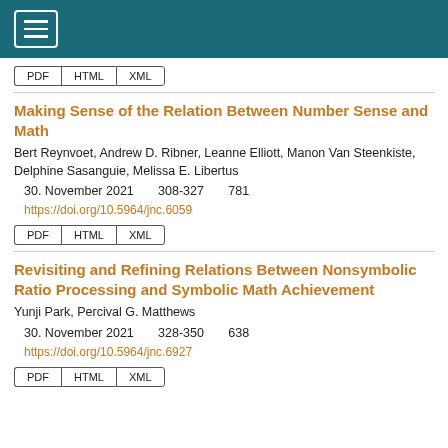Navigation header with hamburger menu
PDF HTML XML
Making Sense of the Relation Between Number Sense and Math
Bert Reynvoet, Andrew D. Ribner, Leanne Elliott, Manon Van Steenkiste, Delphine Sasanguie, Melissa E. Libertus
30. November 2021    308-327    781
https://doi.org/10.5964/jnc.6059
PDF HTML XML
Revisiting and Refining Relations Between Nonsymbolic Ratio Processing and Symbolic Math Achievement
Yunji Park, Percival G. Matthews
30. November 2021    328-350    638
https://doi.org/10.5964/jnc.6927
PDF HTML XML